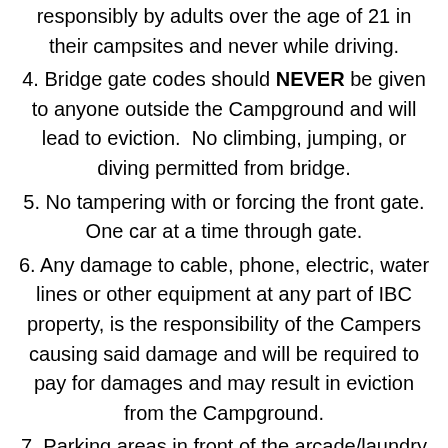responsibly by adults over the age of 21 in their campsites and never while driving.
4. Bridge gate codes should NEVER be given to anyone outside the Campground and will lead to eviction.  No climbing, jumping, or diving permitted from bridge.
5. No tampering with or forcing the front gate. One car at a time through gate.
6. Any damage to cable, phone, electric, water lines or other equipment at any part of IBC property, is the responsibility of the Campers causing said damage and will be required to pay for damages and may result in eviction from the Campground.
7. Parking areas in front of the arcade/laundry is for arcade/laundry and shower use. Any long-term parking is